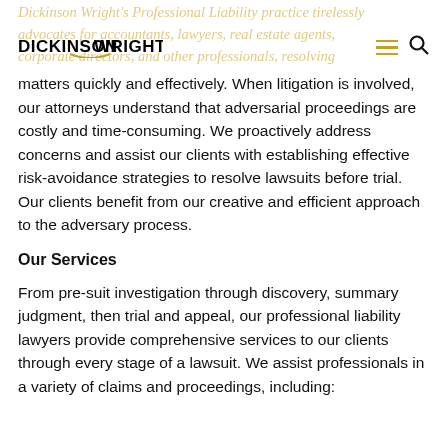Dickinson Wright logo and navigation
Dickinson Wright's Professional Liability practice tirelessly advocates for accountants, lawyers, real estate agents, corporate directors, and other professionals, resolving matters quickly and effectively. When litigation is involved, our attorneys understand that adversarial proceedings are costly and time-consuming. We proactively address concerns and assist our clients with establishing effective risk-avoidance strategies to resolve lawsuits before trial. Our clients benefit from our creative and efficient approach to the adversary process.
Our Services
From pre-suit investigation through discovery, summary judgment, then trial and appeal, our professional liability lawyers provide comprehensive services to our clients through every stage of a lawsuit. We assist professionals in a variety of claims and proceedings, including: